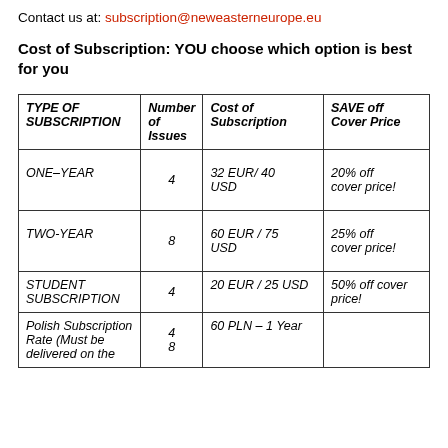Contact us at: subscription@neweasterneurope.eu
Cost of Subscription: YOU choose which option is best for you
| TYPE OF SUBSCRIPTION | Number of Issues | Cost of Subscription | SAVE off Cover Price |
| --- | --- | --- | --- |
| ONE-YEAR | 4 | 32 EUR/ 40 USD | 20% off cover price! |
| TWO-YEAR | 8 | 60 EUR / 75 USD | 25% off cover price! |
| STUDENT SUBSCRIPTION | 4 | 20 EUR / 25 USD | 50% off cover price! |
| Polish Subscription Rate (Must be delivered on the… | 4
8 | 60 PLN – 1 Year
100 PLN – 2… |  |